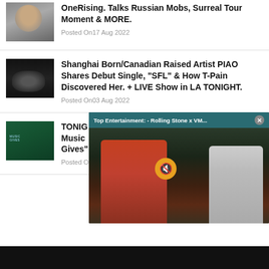OneRising. Talks Russian Mobs, Surreal Tour Moment & MORE.
Posted On17 Aug 2022
[Figure (photo): Thumbnail image of a person's face]
Shanghai Born/Canadian Raised Artist PIAO Shares Debut Single, "SFL" & How T-Pain Discovered Her. + LIVE Show in LA TONIGHT.
Posted On03 Aug 2022
[Figure (photo): Dark thumbnail image with a hand or figure in dim lighting]
TONIGHT Music Gives"
Posted O
[Figure (screenshot): Video overlay popup titled 'Top Entertainment: - Rolling Stone x VM...' showing two people being interviewed at an event, with a mute button and close button]
[Figure (photo): Green-tinted thumbnail with MusicGives text]